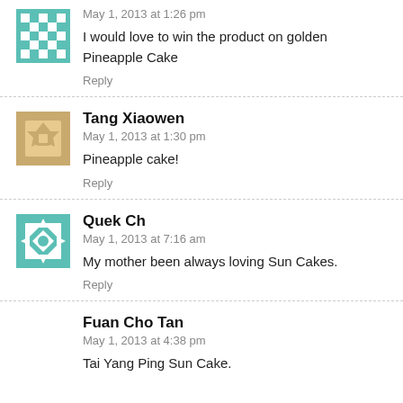May 1, 2013 at 1:26 pm
I would love to win the product on golden Pineapple Cake
Reply
Tang Xiaowen
May 1, 2013 at 1:30 pm
Pineapple cake!
Reply
Quek Ch
May 1, 2013 at 7:16 am
My mother been always loving Sun Cakes.
Reply
Fuan Cho Tan
May 1, 2013 at 4:38 pm
Tai Yang Ping Sun Cake.